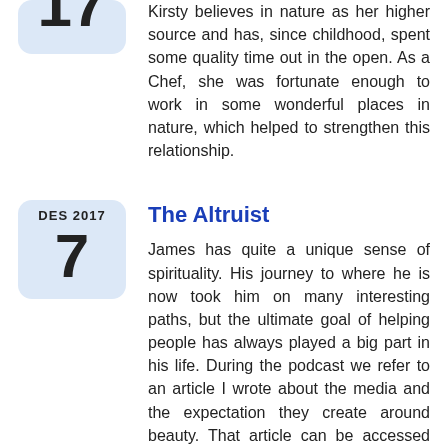Kirsty believes in nature as her higher source and has, since childhood, spent some quality time out in the open. As a Chef, she was fortunate enough to work in some wonderful places in nature, which helped to strengthen this relationship.
The Altruist
James has quite a unique sense of spirituality. His journey to where he is now took him on many interesting paths, but the ultimate goal of helping people has always played a big part in his life. During the podcast we refer to an article I wrote about the media and the expectation they create around beauty. That article can be accessed here: A